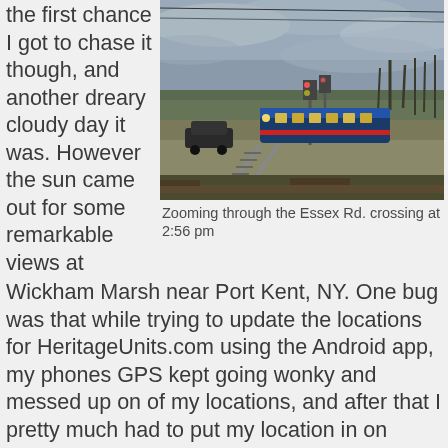the first chance I got to chase it though, and another dreary cloudy day it was. However the sun came out for some remarkable views at
[Figure (photo): A train zooming through a railroad crossing on a cloudy day with bare trees in the background. Railroad crossing signals visible.]
Zooming through the Essex Rd. crossing at 2:56 pm
Wickham Marsh near Port Kent, NY. One bug was that while trying to update the locations for HeritageUnits.com using the Android app, my phones GPS kept going wonky and messed up on of my locations, and after that I pretty much had to put my location in on manual, combine that with the frustrating Internet situation with the mountains, and it was almost better off leaving technology in the past!
We sighted it first at Wickham Marsh, in Port Kent; Essex